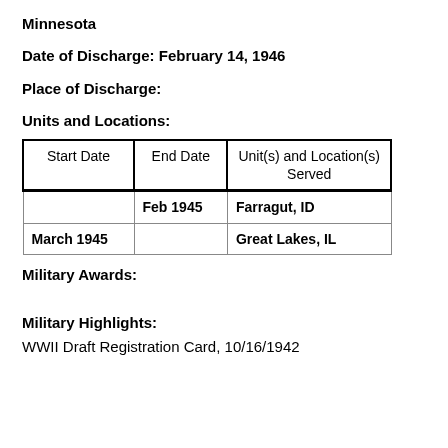Minnesota
Date of Discharge: February 14, 1946
Place of Discharge:
Units and Locations:
| Start Date | End Date | Unit(s) and Location(s) Served |
| --- | --- | --- |
|  | Feb 1945 | Farragut, ID |
| March 1945 |  | Great Lakes, IL |
Military Awards:
Military Highlights:
WWII Draft Registration Card, 10/16/1942